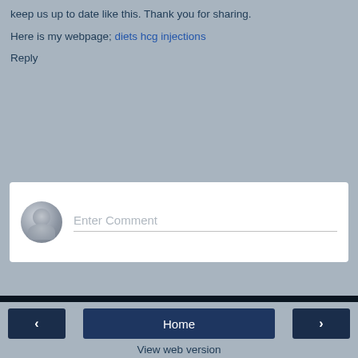keep us up to date like this. Thank you for sharing.
Here is my webpage; diets hcg injections
Reply
[Figure (screenshot): Comment entry box with user avatar placeholder and 'Enter Comment' placeholder text]
< Home > View web version